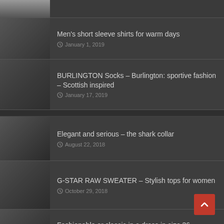[Figure (photo): Partial thumbnail image strip at top of page]
Men's short sleeve shirts for warm days — January 1, 2019
BURLINGTON Socks – Burlington: sportive fashion – Scottish inspired — January 17, 2019
Elegant and serious – the shark collar — August 22, 2018
G-STAR RAW SWEATER – Stylish tops for women — October 29, 2018
Fashionable or classic in a dress in size 36 — January 3, 2019